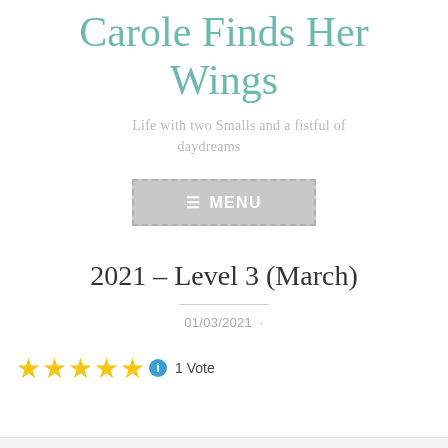Carole Finds Her Wings
Life with two Smalls and a fistful of daydreams
[Figure (other): Menu navigation button with dashed border, grey background, hamburger icon and MENU text in white]
2021 – Level 3 (March)
01/03/2021
★★★★★ ℹ 1 Vote